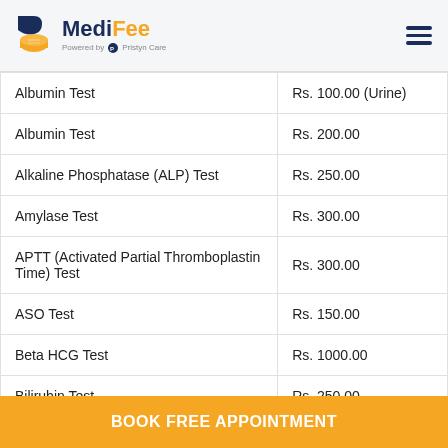MediFee - Powered by Pristyn Care
| Test Name | Price |
| --- | --- |
| Albumin Test | Rs. 100.00 (Urine) |
| Albumin Test | Rs. 200.00 |
| Alkaline Phosphatase (ALP) Test | Rs. 250.00 |
| Amylase Test | Rs. 300.00 |
| APTT (Activated Partial Thromboplastin Time) Test | Rs. 300.00 |
| ASO Test | Rs. 150.00 |
| Beta HCG Test | Rs. 1000.00 |
| Bilirubin Test | Rs. 250.00 |
BOOK FREE APPOINTMENT